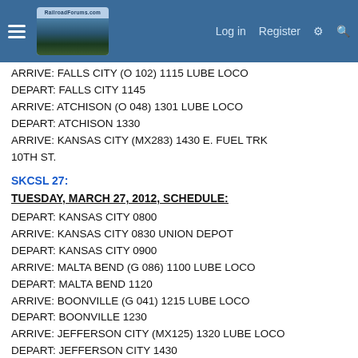RailroadForums.com | Log in | Register
ARRIVE: FALLS CITY (O 102) 1115 LUBE LOCO
DEPART: FALLS CITY 1145
ARRIVE: ATCHISON (O 048) 1301 LUBE LOCO
DEPART: ATCHISON 1330
ARRIVE: KANSAS CITY (MX283) 1430 E. FUEL TRK 10TH ST.
SKCSL 27:
TUESDAY, MARCH 27, 2012, SCHEDULE:
DEPART: KANSAS CITY 0800
ARRIVE: KANSAS CITY 0830 UNION DEPOT
DEPART: KANSAS CITY 0900
ARRIVE: MALTA BEND (G 086) 1100 LUBE LOCO
DEPART: MALTA BEND 1120
ARRIVE: BOONVILLE (G 041) 1215 LUBE LOCO
DEPART: BOONVILLE 1230
ARRIVE: JEFFERSON CITY (MX125) 1320 LUBE LOCO
DEPART: JEFFERSON CITY 1430
ARRIVE: WASHINGTON (MX054) 1600 LUBE LOCO